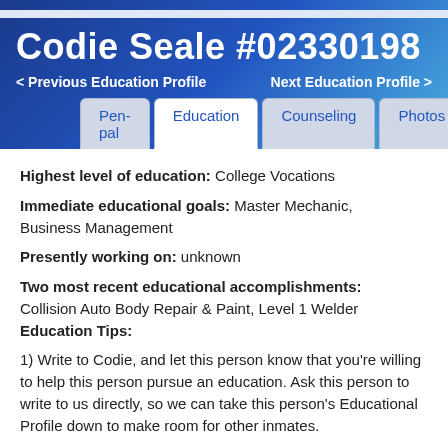Codie Seale #02330198
< Previous Education Profile    Next Education Profile >
Pen-pal  Education  Counseling  Photos
Highest level of education: College Vocations
Immediate educational goals: Master Mechanic, Business Management
Presently working on: unknown
Two most recent educational accomplishments: Collision Auto Body Repair & Paint, Level 1 Welder
Education Tips:
1) Write to Codie, and let this person know that you're willing to help this person pursue an education. Ask this person to write to us directly, so we can take this person's Educational Profile down to make room for other inmates.